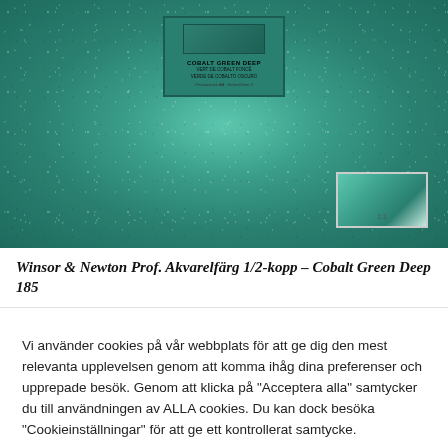[Figure (photo): Product photo of Winsor & Newton Professional Watercolour half pan - Cobalt Green Deep 185, shown against a teal/green speckled background with a paint swatch in the lower right corner showing the color at 1:1]
Winsor & Newton Prof. Akvarelfärg 1/2-kopp – Cobalt Green Deep 185
Vi använder cookies på vår webbplats för att ge dig den mest relevanta upplevelsen genom att komma ihåg dina preferenser och upprepade besök. Genom att klicka på "Acceptera alla" samtycker du till användningen av ALLA cookies. Du kan dock besöka "Cookieinställningar" för att ge ett kontrollerat samtycke.
Cookie-inställningar
Godkänn alla